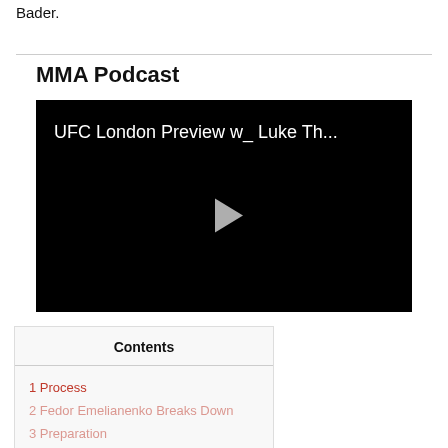Bader.
MMA Podcast
[Figure (screenshot): Video player with black background showing title 'UFC London Preview w_ Luke Th...' and a play button in the center]
| Contents |
| --- |
| 1 Process |
| 2 Fedor Emelianenko Breaks Down |
| 3 Preparation |